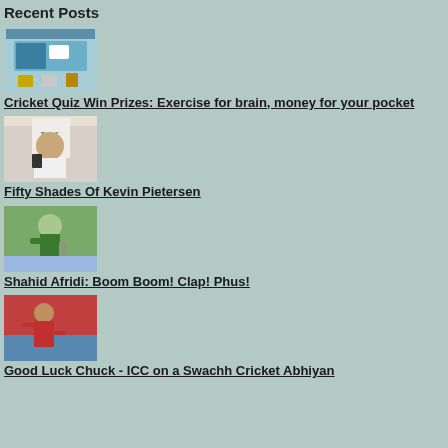Recent Posts
[Figure (screenshot): Cricket quiz app screenshot showing mobile app and prizes]
Cricket Quiz Win Prizes: Exercise for brain, money for your pocket
[Figure (photo): Kevin Pietersen holding a book or trophy at a signing event]
Fifty Shades Of Kevin Pietersen
[Figure (photo): Cricket player batting in green kit]
Shahid Afridi: Boom Boom! Clap! Phus!
[Figure (photo): Cricket player in red West Indies kit bowling]
Good Luck Chuck - ICC on a Swachh Cricket Abhiyan